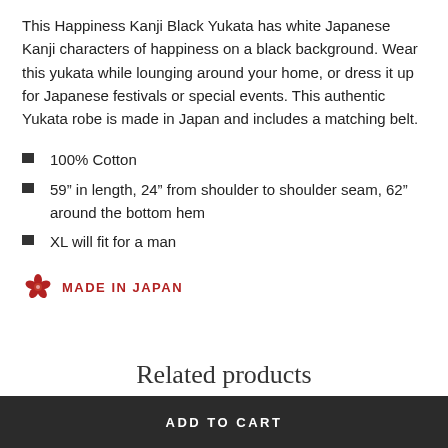This Happiness Kanji Black Yukata has white Japanese Kanji characters of happiness on a black background. Wear this yukata while lounging around your home, or dress it up for Japanese festivals or special events. This authentic Yukata robe is made in Japan and includes a matching belt.
100% Cotton
59” in length, 24” from shoulder to shoulder seam, 62” around the bottom hem
XL will fit for a man
[Figure (logo): Red cherry blossom flower icon followed by MADE IN JAPAN text in red bold uppercase letters]
Related products
ADD TO CART